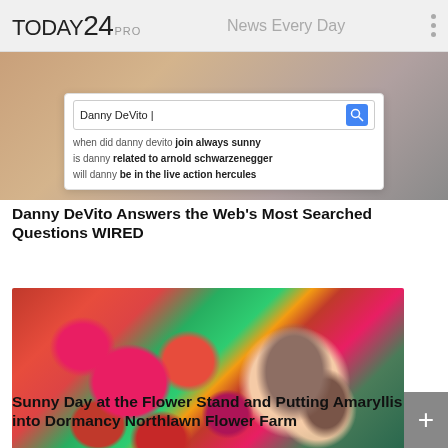TODAY 24 PRO — News Every Day
[Figure (screenshot): Google search screenshot overlaid on a photo background, showing search for 'Danny DeVito' with autocomplete suggestions: 'when did danny devito join always sunny', 'is danny related to arnold schwarzenegger', 'will danny be in the live action hercules']
Danny DeVito Answers the Web's Most Searched Questions WIRED
[Figure (photo): A smiling woman wearing a gray baseball cap and pink plaid flannel shirt, holding large pink zinnia flowers in a garden setting with green foliage behind her.]
Sunny Day at the Flower Stand and Putting Amaryllis into Dormancy Northlawn Flower Farm